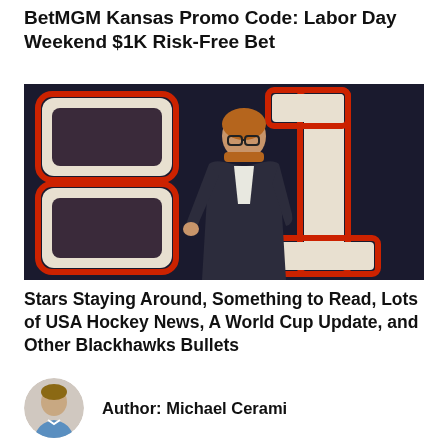BetMGM Kansas Promo Code: Labor Day Weekend $1K Risk-Free Bet
[Figure (photo): Man in dark suit standing in front of a large jersey number 81 graphic with red outline on dark background]
Stars Staying Around, Something to Read, Lots of USA Hockey News, A World Cup Update, and Other Blackhawks Bullets
Author: Michael Cerami